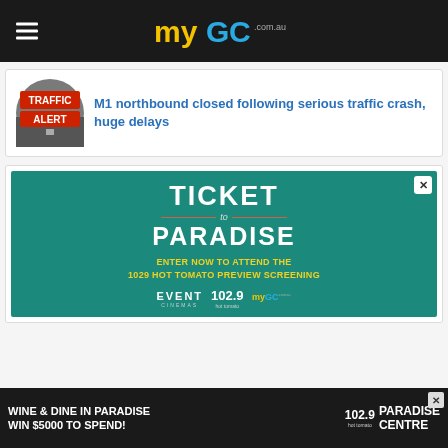[Figure (logo): myGC.com.au website header with hamburger menu icon on dark background]
[Figure (photo): Traffic Alert circular badge icon with road/traffic imagery]
M1 northbound closed following serious traffic crash, huge delays
[Figure (infographic): Ticket to Paradise advertisement on teal background - Enter Now to Attend the 1029 Hot Tomato Preview Screening, with Event Cinemas, 102.9 Hot Tomato, and myGC logos]
[Figure (infographic): Bottom banner ad: Wine & Dine in Paradise Win $5000 to spend! with 102.9 Hot Tomato and Paradise Centre logos]